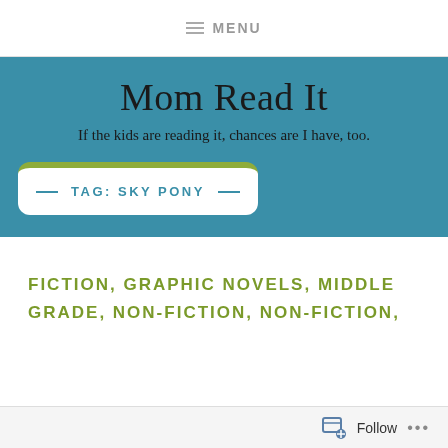≡ MENU
Mom Read It
If the kids are reading it, chances are I have, too.
TAG: SKY PONY
FICTION, GRAPHIC NOVELS, MIDDLE GRADE, NON-FICTION, NON-FICTION,
Follow ...